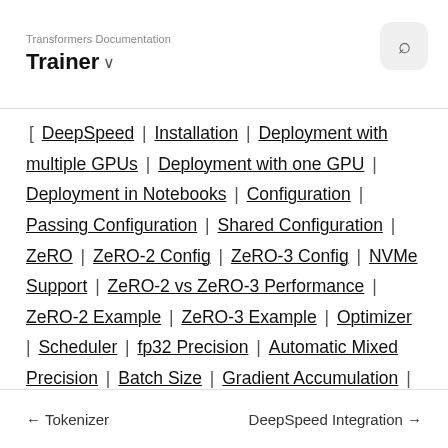Transformers Documentation
Trainer
[ DeepSpeed | Installation | Deployment with multiple GPUs | Deployment with one GPU | Deployment in Notebooks | Configuration | Passing Configuration | Shared Configuration | ZeRO | ZeRO-2 Config | ZeRO-3 Config | NVMe Support | ZeRO-2 vs ZeRO-3 Performance | ZeRO-2 Example | ZeRO-3 Example | Optimizer | Scheduler | fp32 Precision | Automatic Mixed Precision | Batch Size | Gradient Accumulation | Gradient Clipping | Getting The Model Weights Out ]
← Tokenizer    DeepSpeed Integration →